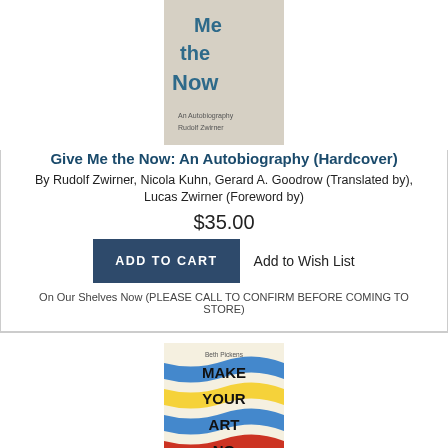[Figure (photo): Book cover of 'Give Me the Now: An Autobiography' showing the title text on a grey/linen texture background]
Give Me the Now: An Autobiography (Hardcover)
By Rudolf Zwirner, Nicola Kuhn, Gerard A. Goodrow (Translated by), Lucas Zwirner (Foreword by)
$35.00
ADD TO CART
Add to Wish List
On Our Shelves Now (PLEASE CALL TO CONFIRM BEFORE COMING TO STORE)
[Figure (photo): Book cover of 'Make Your Art No Matter What: Moving Beyond Creative Hurdles' with colorful wave patterns and bold text]
Make Your Art No Matter What: Moving Beyond Creative Hurdles (Paperback)